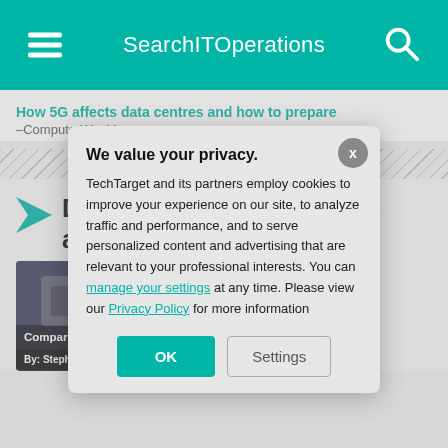SearchITOperations
How 5G affects data centres and how to prepare –ComputerWeekly.com
Dig Deeper on Containers and virtualization
[Figure (screenshot): Card showing Compare Azure content with author By: Stephen Bige]
[Figure (screenshot): Card showing host virtual ma... content]
We value your privacy.
TechTarget and its partners employ cookies to improve your experience on our site, to analyze traffic and performance, and to serve personalized content and advertising that are relevant to your professional interests. You can manage your settings at any time. Please view our Privacy Policy for more information